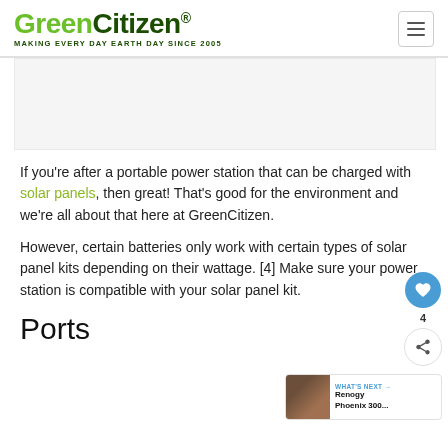GreenCitizen® MAKING EVERY DAY EARTH DAY SINCE 2005
[Figure (other): Advertisement placeholder block]
If you're after a portable power station that can be charged with solar panels, then great! That's good for the environment and we're all about that here at GreenCitizen.
However, certain batteries only work with certain types of solar panel kits depending on their wattage. [4] Make sure your power station is compatible with your solar panel kit.
Ports